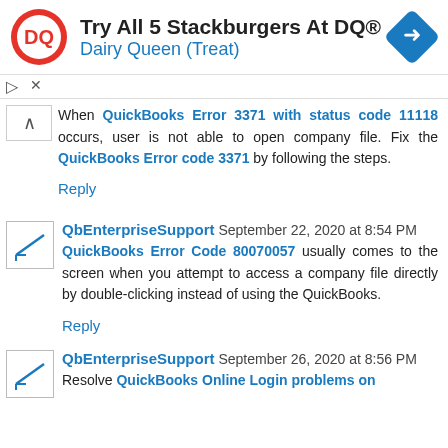[Figure (screenshot): Dairy Queen advertisement banner with DQ logo, text 'Try All 5 Stackburgers At DQ®' and 'Dairy Queen (Treat)', and a directions icon on the right.]
When QuickBooks Error 3371 with status code 11118 occurs, user is not able to open company file. Fix the QuickBooks Error code 3371 by following the steps.
Reply
QbEnterpriseSupport September 22, 2020 at 8:54 PM
QuickBooks Error Code 80070057 usually comes to the screen when you attempt to access a company file directly by double-clicking instead of using the QuickBooks.
Reply
QbEnterpriseSupport September 26, 2020 at 8:56 PM
Resolve QuickBooks Online Login problems on